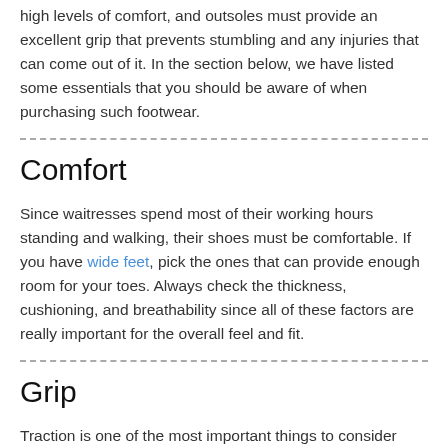high levels of comfort, and outsoles must provide an excellent grip that prevents stumbling and any injuries that can come out of it. In the section below, we have listed some essentials that you should be aware of when purchasing such footwear.
Comfort
Since waitresses spend most of their working hours standing and walking, their shoes must be comfortable. If you have wide feet, pick the ones that can provide enough room for your toes. Always check the thickness, cushioning, and breathability since all of these factors are really important for the overall feel and fit.
Grip
Traction is one of the most important things to consider